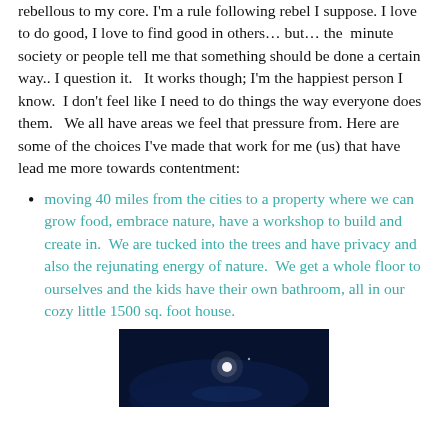rebellous to my core. I'm a rule following rebel I suppose. I love to do good, I love to find good in others… but… the minute society or people tell me that something should be done a certain way.. I question it.   It works though; I'm the happiest person I know.  I don't feel like I need to do things the way everyone does them.   We all have areas we feel that pressure from. Here are some of the choices I've made that work for me (us) that have lead me more towards contentment:
moving 40 miles from the cities to a property where we can grow food, embrace nature, have a workshop to build and create in.  We are tucked into the trees and have privacy and also the rejunating energy of nature.  We get a whole floor to ourselves and the kids have their own bathroom, all in our cozy little 1500 sq. foot house.
[Figure (photo): Dark night sky photo with a bright light/moon visible against a deep blue-black background]